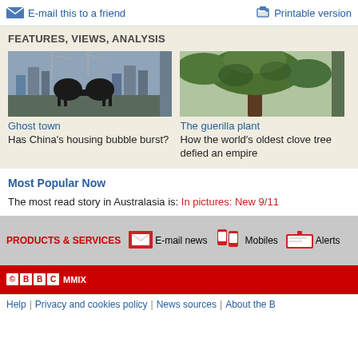E-mail this to a friend   Printable version
FEATURES, VIEWS, ANALYSIS
[Figure (photo): Silhouette of horse sculptures against city skyline with cranes - Ghost town article image]
Ghost town
Has China's housing bubble burst?
[Figure (photo): Green tree with dense foliage - The guerilla plant article image]
The guerilla plant
How the world's oldest clove tree defied an empire
Most Popular Now
The most read story in Australasia is: In pictures: New 9/11
PRODUCTS & SERVICES   E-mail news   Mobiles   Alerts
© BBC MMIX
Help | Privacy and cookies policy | News sources | About the B